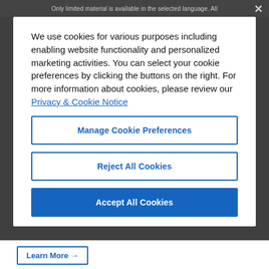Only limited material is available in the selected language. All
We use cookies for various purposes including enabling website functionality and personalized marketing activities. You can select your cookie preferences by clicking the buttons on the right. For more information about cookies, please review our Privacy & Cookie Notice
Manage Cookie Preferences
Reject All Cookies
Accept All Cookies
Learn More →